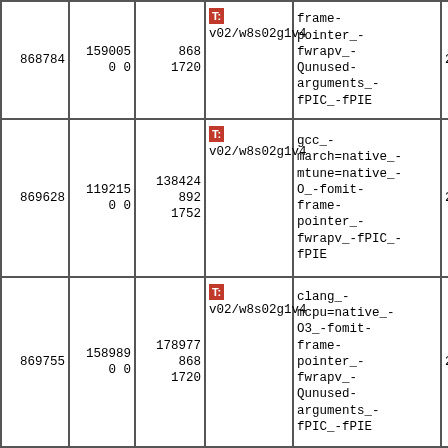| ID | Col2 | Col3 | Col4 | Flags | Date |
| --- | --- | --- | --- | --- | --- |
| 868784 | 159005
0 0 | 868
1720 | T:
v02/w8s02g1v4 | frame-pointer_-fwrapv_-Qunused-arguments_-fPIC_-fPIE | 2021 |
| 869628 | 119215
0 0 | 138424
892
1752 | T:
v02/w8s02g1v4 | gcc_-march=native_-mtune=native_-O_-fomit-frame-pointer_-fwrapv_-fPIC_-fPIE | 2021 |
| 869755 | 158989
0 0 | 178977
868
1720 | T:
v02/w8s02g1v4 | clang_-mcpu=native_-O3_-fomit-frame-pointer_-fwrapv_-Qunused-arguments_-fPIC_-fPIE | 2021 |
| 876870 | 109032
0 0 | 127168
884
1752 | T:
v02/w8s02g1v4 | gcc_-march=native_-mtune=native_-Os_-fomit-frame-pointer_-fwrapv_-fPIC | 2021 |